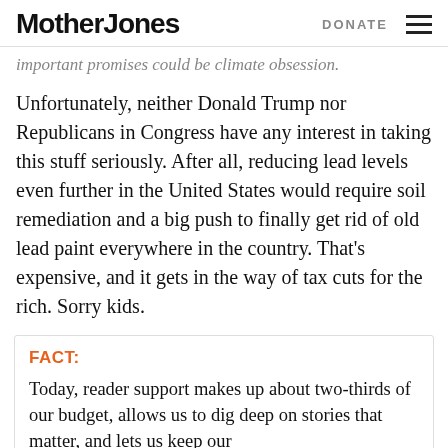Mother Jones | DONATE
important promises could be climate obsession.
Unfortunately, neither Donald Trump nor Republicans in Congress have any interest in taking this stuff seriously. After all, reducing lead levels even further in the United States would require soil remediation and a big push to finally get rid of old lead paint everywhere in the country. That's expensive, and it gets in the way of tax cuts for the rich. Sorry kids.
FACT:
Today, reader support makes up about two-thirds of our budget, allows us to dig deep on stories that matter, and lets us keep our